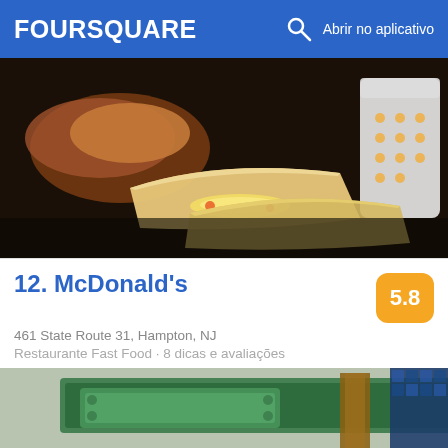FOURSQUARE  Abrir no aplicativo
[Figure (photo): Close-up photo of breakfast burritos/wraps with egg and cheese filling, with a cup in the background]
12. McDonald's
461 State Route 31, Hampton, NJ
Restaurante Fast Food · 8 dicas e avaliações
Noelle: Never any problems here- drive thru employees always friendly-get a steak egg & cheese bagel for breakfast ☺
[Figure (photo): Partial view of what appears to be a green board or sign with decorative elements]